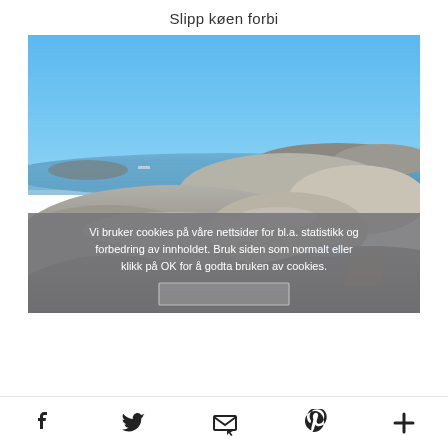Slipp køen forbi
[Figure (photo): Coastal rocky shoreline landscape with smooth granite boulders under a clear blue sky, sea visible in the background. Cookie consent overlay at the bottom reading: Vi bruker cookies på våre nettsider for bl.a. statistikk og forbedring av innholdet. Bruk siden som normalt eller klikk på OK for å godta bruken av cookies.]
Social sharing icons: Facebook, Twitter, Email/envelope, Pinterest, More (+)